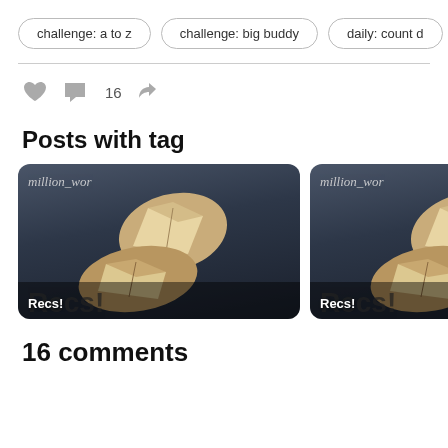challenge: a to z
challenge: big buddy
daily: count d
16
Posts with tag
[Figure (photo): Four post thumbnail cards showing book imagery with text 'million_wor' and label 'Recs!' on the first three, and partial fourth card with 'Mo Ma']
16 comments